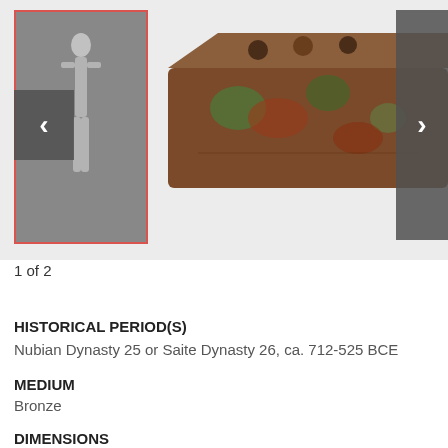[Figure (photo): Museum artifact gallery view showing two images: a thumbnail of a small figurine (outlined in red/pink border) and a main image of an ancient bronze box with decorative surface, reddish-green patina. Navigation arrows on left and right sides.]
1 of 2
HISTORICAL PERIOD(S)
Nubian Dynasty 25 or Saite Dynasty 26, ca. 712-525 BCE
MEDIUM
Bronze
DIMENSIONS